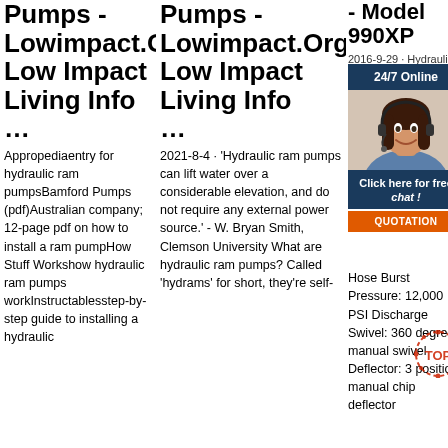Pumps - Lowimpact.Org Low Impact Living Info …
Appropediaentry for hydraulic ram pumpsBamford Pumps (pdf)Australian company; 12-page pdf on how to install a ram pumpHow Stuff Workshow hydraulic ram pumps workInstructablesstep-by-step guide to installing a hydraulic
Pumps - Lowimpact.Org Low Impact Living Info …
2021-8-4 · 'Hydraulic ram pumps can lift water over a considerable elevation, and do not require any external power source.' - W. Bryan Smith, Clemson University What are hydraulic ram pumps? Called 'hydrams' for short, they're self-
- Model 990XP
2016-9-29 · Hydraulic System Type: Open Center Micro micr Park Pum Pres Hyd & 3/ dou Hose Burst Pressure: 12,000 PSI Discharge Swivel: 360 degree manual swivel Deflector: 3 position manual chip deflector
[Figure (photo): Customer service representative - woman smiling with headset, with chat overlay UI showing '24/7 Online', 'Click here for free chat!', and 'QUOTATION' button]